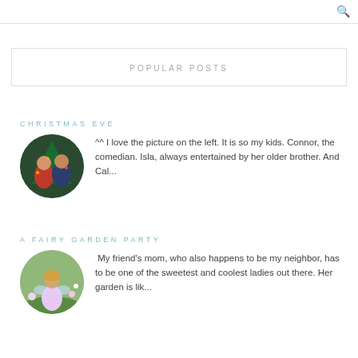🔍
POPULAR POSTS
CHRISTMAS EVE
[Figure (photo): Circular photo of two children dressed in Christmas attire in front of a decorated Christmas tree]
^^ I love the picture on the left. It is so my kids. Connor, the comedian. Isla, always entertained by her older brother. And Cal...
A FAIRY GARDEN PARTY
[Figure (photo): Circular photo of a young girl dressed in fairy/princess costume outdoors in a garden]
My friend's mom, who also happens to be my neighbor, has to be one of the sweetest and coolest ladies out there. Her garden is lik...